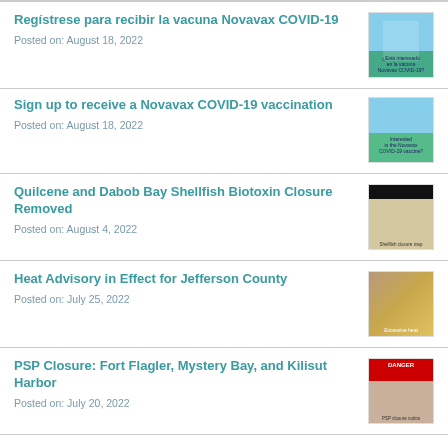Regístrese para recibir la vacuna Novavax COVID-19
Posted on: August 18, 2022
[Figure (photo): Thumbnail image for Novavax COVID-19 vaccine registration post in Spanish, showing vaccine-related imagery]
Sign up to receive a Novavax COVID-19 vaccination
Posted on: August 18, 2022
[Figure (photo): Thumbnail image for Novavax COVID-19 vaccine sign-up post in English]
Quilcene and Dabob Bay Shellfish Biotoxin Closure Removed
Posted on: August 4, 2022
[Figure (photo): Thumbnail image showing a shellfish closure map for Quilcene and Dabob Bay]
Heat Advisory in Effect for Jefferson County
Posted on: July 25, 2022
[Figure (photo): Thumbnail image for heat advisory notice for Jefferson County]
PSP Closure: Fort Flagler, Mystery Bay, and Kilisut Harbor
Posted on: July 20, 2022
[Figure (photo): Thumbnail image showing a PSP (Paralytic Shellfish Poison) closure danger notice]